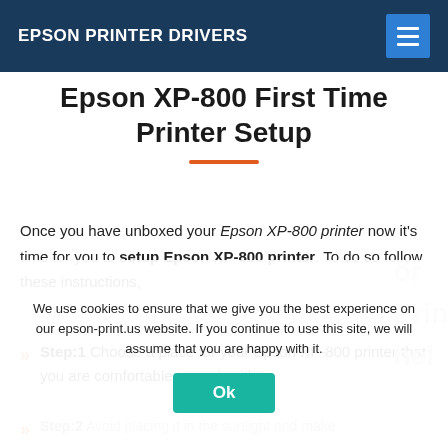EPSON PRINTER DRIVERS
Epson XP-800 First Time Printer Setup
Once you have unboxed your Epson XP-800 printer now it's time for you to setup Epson XP-800 printer. To do so follow these instructions,
Step:1 Choose a place for your Epson XP-800 printer that you are comfortable to work with.
Step:2 Avoid placing it in the sunlight and make sure it is nearest to a power source and away from water.
We use cookies to ensure that we give you the best experience on our epson-print.us website. If you continue to use this site, we will assume that you are happy with it.